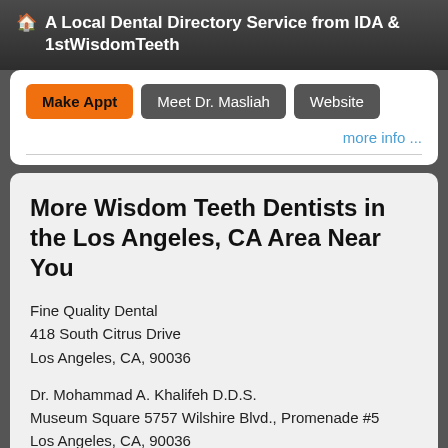A Local Dental Directory Service from IDA & 1stWisdomTeeth
Make Appt   Meet Dr. Masliah   Website
more info ...
More Wisdom Teeth Dentists in the Los Angeles, CA Area Near You
Fine Quality Dental
418 South Citrus Drive
Los Angeles, CA, 90036
Dr. Mohammad A. Khalifeh D.D.S.
Museum Square 5757 Wilshire Blvd., Promenade #5
Los Angeles, CA, 90036
Doctor - Activate Your Free 1stWisdomTeeth Directory Listing